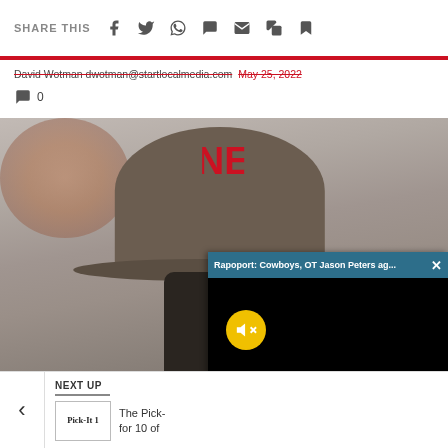SHARE THIS
David Wotman dwotman@startlocalmedia.com  May 25, 2022
0
[Figure (photo): Person seen from behind wearing a dark cap with a red logo, standing in front of a blurred stadium background. A video overlay popup shows 'Rapoport: Cowboys, OT Jason Peters ag...' with a mute button, over a black video frame.]
NEXT UP
The Pick-It for 10 of